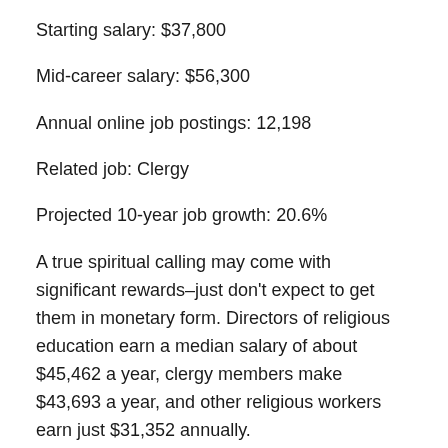Starting salary: $37,800
Mid-career salary: $56,300
Annual online job postings: 12,198
Related job: Clergy
Projected 10-year job growth: 20.6%
A true spiritual calling may come with significant rewards–just don't expect to get them in monetary form. Directors of religious education earn a median salary of about $45,462 a year, clergy members make $43,693 a year, and other religious workers earn just $31,352 annually.